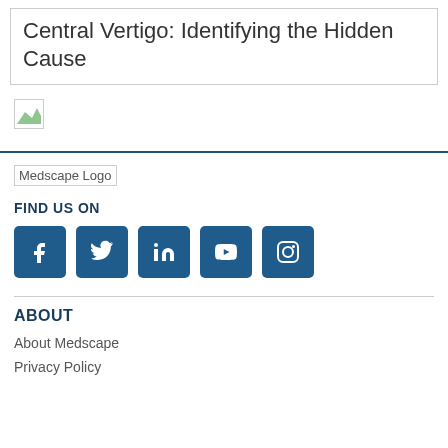Central Vertigo: Identifying the Hidden Cause
[Figure (illustration): Broken/missing image placeholder (small icon with green landscape thumbnail)]
[Figure (logo): Medscape Logo placeholder image]
FIND US ON
[Figure (infographic): Social media icons: Facebook, Twitter, LinkedIn, YouTube, Instagram — dark blue square buttons]
ABOUT
About Medscape
Privacy Policy